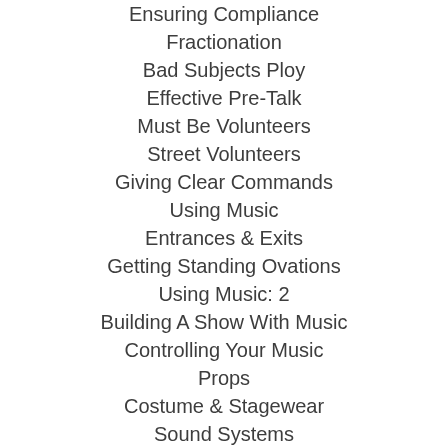Ensuring Compliance
Fractionation
Bad Subjects Ploy
Effective Pre-Talk
Must Be Volunteers
Street Volunteers
Giving Clear Commands
Using Music
Entrances & Exits
Getting Standing Ovations
Using Music: 2
Building A Show With Music
Controlling Your Music
Props
Costume & Stagewear
Sound Systems
Stage Settings